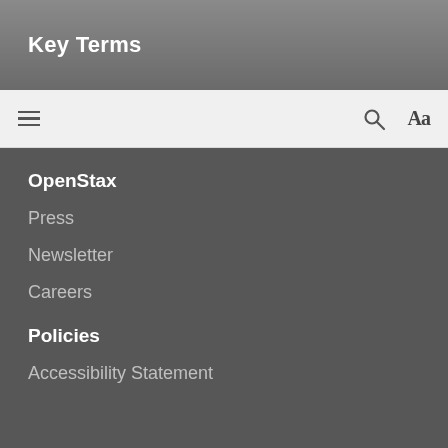Key Terms
[Figure (screenshot): Navigation bar with hamburger menu icon on left, search icon and font-size icon on right]
OpenStax
Press
Newsletter
Careers
Policies
Accessibility Statement